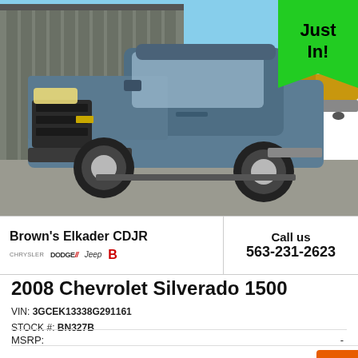[Figure (photo): Blue 2008 Chevrolet Silverado 1500 pickup truck parked in front of a metal building, with a yellow truck visible in the background on the right. A green 'Just In!' badge appears in the top-right corner.]
Brown's Elkader CDJR
Chrysler  Dodge  Jeep  Ram
Call us
563-231-2623
2008 Chevrolet Silverado 1500
VIN: 3GCEK13338G291161
STOCK #: BN327B
MSRP:	-
Dealer Discount